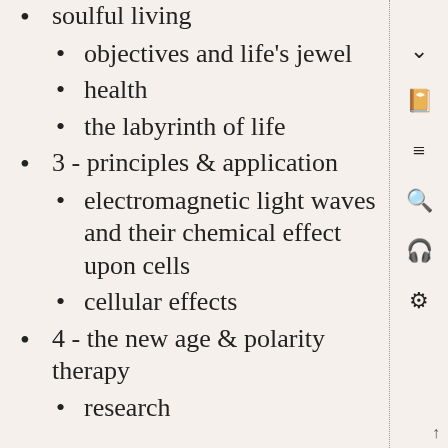soulful living
objectives and life's jewel
health
the labyrinth of life
3 - principles & application
electromagnetic light waves and their chemical effect upon cells
cellular effects
4 - the new age & polarity therapy
research
↑